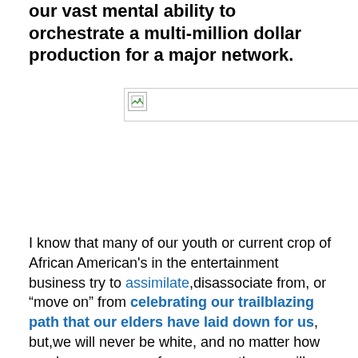our vast mental ability to orchestrate a multi-million dollar production for a major network.
[Figure (photo): Broken/missing image placeholder with a small image icon in the top-left corner]
I know that many of our youth or current crop of African American's in the entertainment business try to assimilate,disassociate from, or “move on” from celebrating our trailblazing path that our elders have laid down for us, but,we will never be white, and no matter how much you run away from your path, you will